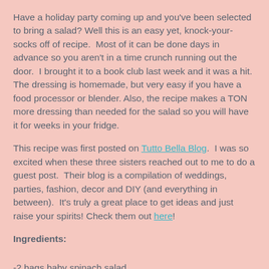Have a holiday party coming up and you've been selected to bring a salad? Well this is an easy yet, knock-your-socks off of recipe.  Most of it can be done days in advance so you aren't in a time crunch running out the door.  I brought it to a book club last week and it was a hit.  The dressing is homemade, but very easy if you have a food processor or blender. Also, the recipe makes a TON more dressing than needed for the salad so you will have it for weeks in your fridge.
This recipe was first posted on Tutto Bella Blog.  I was so excited when these three sisters reached out to me to do a guest post.  Their blog is a compilation of weddings, parties, fashion, decor and DIY (and everything in between).  It's truly a great place to get ideas and just raise your spirits! Check them out here!
Ingredients:
-2 bags baby spinach salad